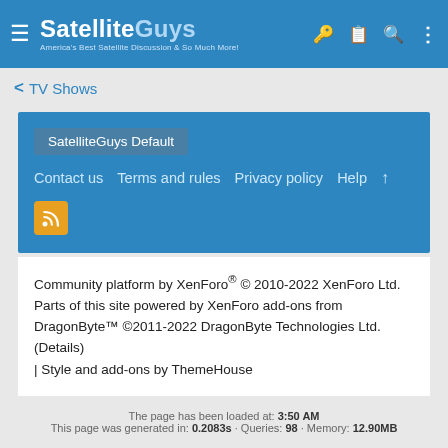SatelliteGuys — America's Best Satellite Discussion & So Much More!
< TV Shows
SatelliteGuys Default
Contact us  Terms and rules  Privacy policy  Help  ↑
[Figure (other): Orange RSS feed button icon]
Community platform by XenForo® © 2010-2022 XenForo Ltd.
Parts of this site powered by XenForo add-ons from DragonByte™ ©2011-2022 DragonByte Technologies Ltd. (Details)
| Style and add-ons by ThemeHouse
The page has been loaded at: 3:50 AM
This page was generated in: 0.2083s · Queries: 98 · Memory: 12.90MB